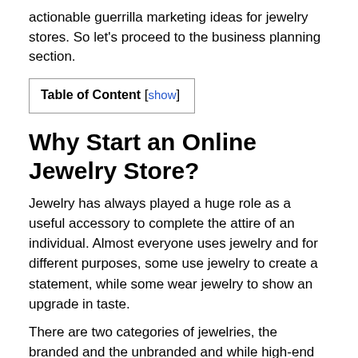actionable guerrilla marketing ideas for jewelry stores. So let's proceed to the business planning section.
| Table of Content [show] |
Why Start an Online Jewelry Store?
Jewelry has always played a huge role as a useful accessory to complete the attire of an individual. Almost everyone uses jewelry and for different purposes, some use jewelry to create a statement, while some wear jewelry to show an upgrade in taste.
There are two categories of jewelries, the branded and the unbranded and while high-end customers usually go for branded jewelries, the rest usually go for unbranded jewelry that might be cheap or expensive depending on the budget. Any entrepreneur looking to go into this business will find it very lucrative especially if they take several aspects of the business such as distribution and publicity very importantly.
"Advertisements"